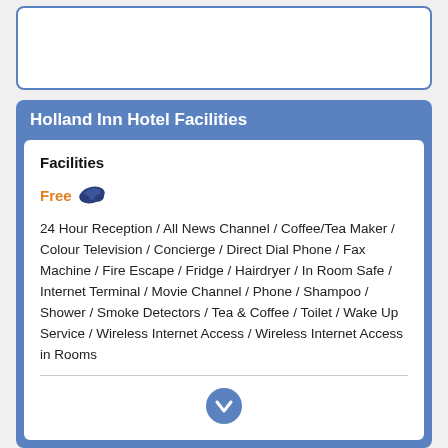Holland Inn Hotel Facilities
Facilities
Free
24 Hour Reception / All News Channel / Coffee/Tea Maker / Colour Television / Concierge / Direct Dial Phone / Fax Machine / Fire Escape / Fridge / Hairdryer / In Room Safe / Internet Terminal / Movie Channel / Phone / Shampoo / Shower / Smoke Detectors / Tea & Coffee / Toilet / Wake Up Service / Wireless Internet Access / Wireless Internet Access in Rooms
Directions